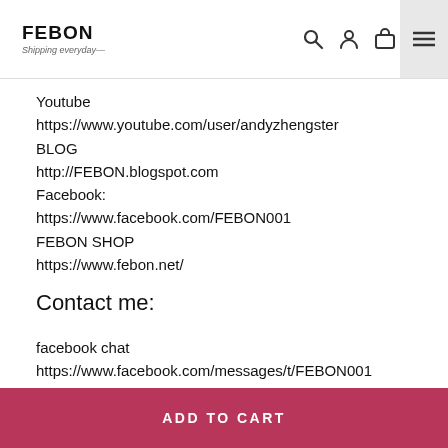FEBON Shipping everyday—
Youtube
https://www.youtube.com/user/andyzhengster
BLOG
http://FEBON.blogspot.com
Facebook:
https://www.facebook.com/FEBON001
FEBON SHOP
https://www.febon.net/
Contact me:
facebook chat
https://www.facebook.com/messages/t/FEBON001
ADD TO CART